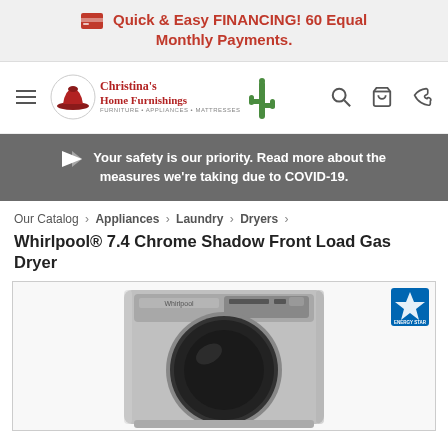Quick & Easy FINANCING! 60 Equal Monthly Payments.
[Figure (logo): Christina's Home Furnishings logo with red hat icon and green cactus]
Your safety is our priority. Read more about the measures we're taking due to COVID-19.
Our Catalog > Appliances > Laundry > Dryers
Whirlpool® 7.4 Chrome Shadow Front Load Gas Dryer
[Figure (photo): Whirlpool Chrome Shadow front load gas dryer, silver color, with Energy Star badge in top right corner]